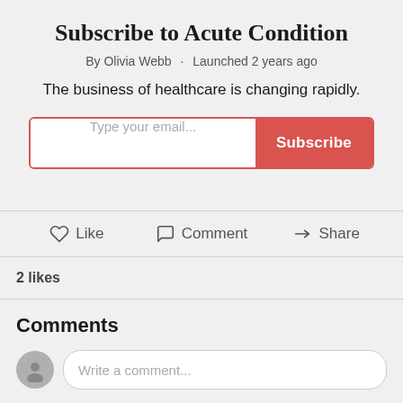Subscribe to Acute Condition
By Olivia Webb · Launched 2 years ago
The business of healthcare is changing rapidly.
[Figure (other): Email subscription form with text input 'Type your email...' and a red Subscribe button]
Like   Comment   Share
2 likes
Comments
Write a comment...